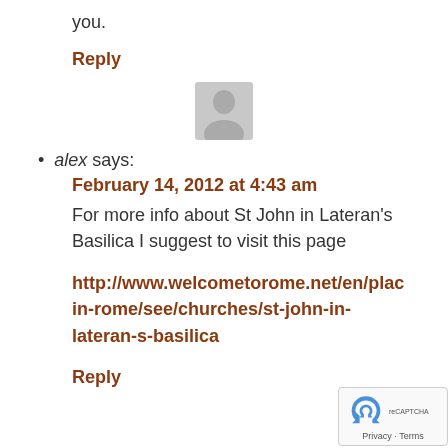you.
Reply
[Figure (illustration): Default user avatar - grey silhouette of a person on light grey background]
alex says: February 14, 2012 at 4:43 am
For more info about St John in Lateran's Basilica I suggest to visit this page

http://www.welcometorome.net/en/places-in-rome/see/churches/st-john-in-lateran-s-basilica
Reply